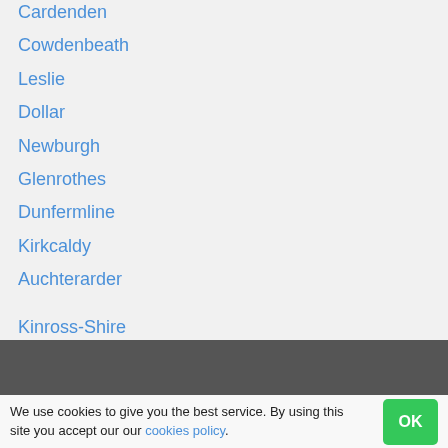Cardenden
Cowdenbeath
Leslie
Dollar
Newburgh
Glenrothes
Dunfermline
Kirkcaldy
Auchterarder
Kinross-Shire
Clackmannanshire
West Lothian
We use cookies to give you the best service. By using this site you accept our our cookies policy.